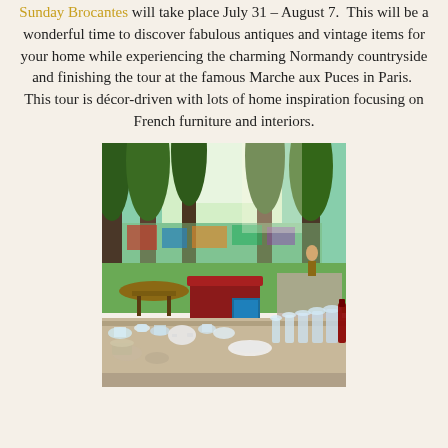Sunday Brocantes will take place July 31 – August 7.  This will be a wonderful time to discover fabulous antiques and vintage items for your home while experiencing the charming Normandy countryside and finishing the tour at the famous Marche aux Puces in Paris.  This tour is décor-driven with lots of home inspiration focusing on French furniture and interiors.
[Figure (photo): Outdoor brocante/flea market scene with tables covered in vintage glassware, crystal, dishes, and antiques in the foreground. In the background, tall trees, more market stalls with colorful items, and visitors browsing under a sunny sky.]